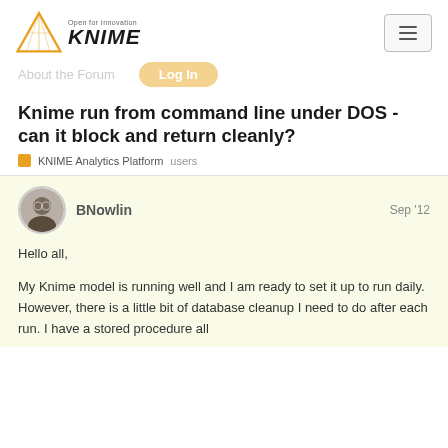[Figure (logo): KNIME logo with yellow triangle and 'Open for Innovation' tagline above 'KNIME' in bold italic]
About the Forum   Log In
Knime run from command line under DOS - can it block and return cleanly?
KNIME Analytics Platform   users
BNowlin   Sep '12
Hello all,
My Knime model is running well and I am ready to set it up to run daily.  However, there is a little bit of database cleanup I need to do after each run.  I have a stored procedure all